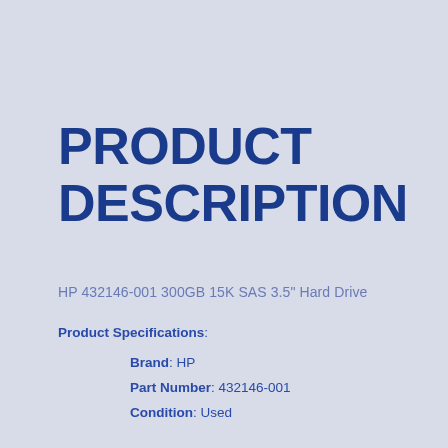PRODUCT DESCRIPTION
HP 432146-001 300GB 15K SAS 3.5" Hard Drive
Product Specifications:
Brand: HP
Part Number: 432146-001
Condition: Used